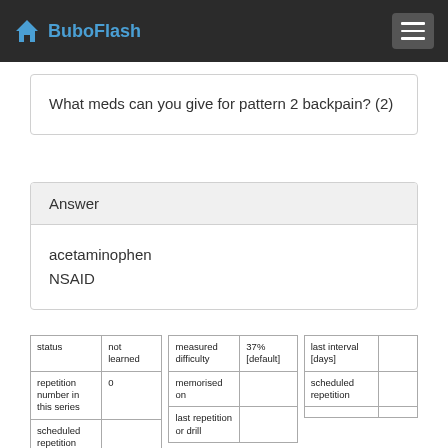BuboFlash
What meds can you give for pattern 2 backpain? (2)
Answer
acetaminophen
NSAID
| status | not learned |
| repetition number in this series | 0 |
| scheduled repetition interval |  |
| measured difficulty | 37% [default] |
| memorised on |  |
| last repetition or drill |  |
| last interval [days] |  |
| scheduled repetition |  |
|  |  |